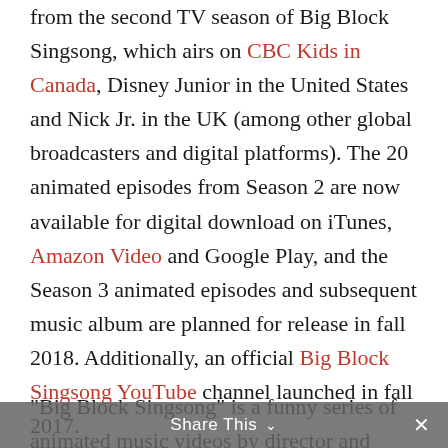from the second TV season of Big Block Singsong, which airs on CBC Kids in Canada, Disney Junior in the United States and Nick Jr. in the UK (among other global broadcasters and digital platforms). The 20 animated episodes from Season 2 are now available for digital download on iTunes, Amazon Video and Google Play, and the Season 3 animated episodes and subsequent music album are planned for release in fall 2018. Additionally, an official Big Block Singsong YouTube channel launched in fall 2017.
“Big Block Singsong” is a funny series of animated music videos by director and animator
Share This ∨  ✕